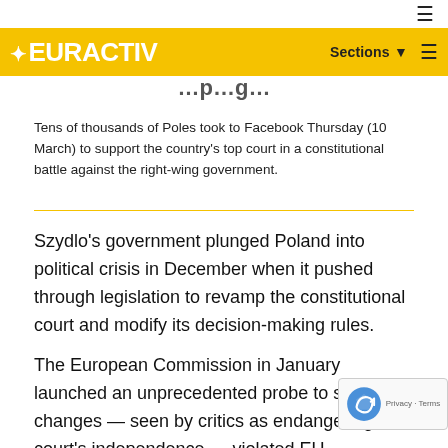EURACTIV — Sections
Tens of thousands of Poles took to Facebook Thursday (10 March) to support the country's top court in a constitutional battle against the right-wing government.
Szydlo's government plunged Poland into political crisis in December when it pushed through legislation to revamp the constitutional court and modify its decision-making rules.
The European Commission in January launched an unprecedented probe to see if the changes — seen by critics as endangering the court's independence — violated EU democracy rules and merited punitive measures.